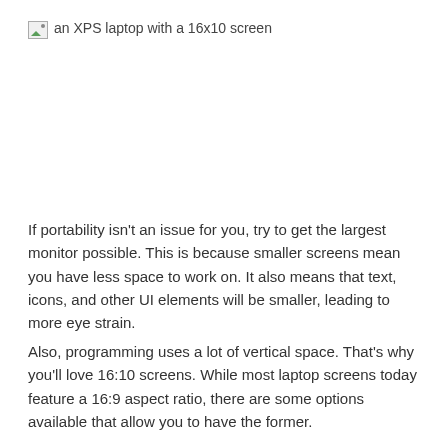[Figure (photo): Broken image placeholder with alt text: an XPS laptop with a 16x10 screen]
If portability isn't an issue for you, try to get the largest monitor possible. This is because smaller screens mean you have less space to work on. It also means that text, icons, and other UI elements will be smaller, leading to more eye strain.
Also, programming uses a lot of vertical space. That's why you'll love 16:10 screens. While most laptop screens today feature a 16:9 aspect ratio, there are some options available that allow you to have the former.